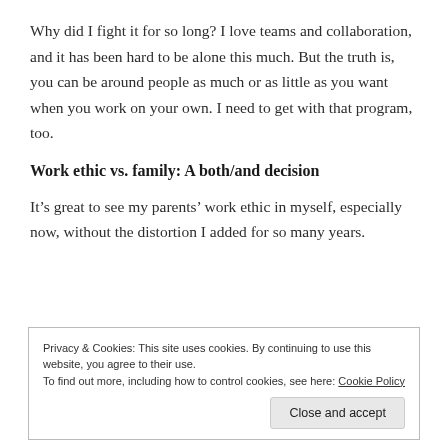Why did I fight it for so long? I love teams and collaboration, and it has been hard to be alone this much. But the truth is, you can be around people as much or as little as you want when you work on your own. I need to get with that program, too.
Work ethic vs. family: A both/and decision
It's great to see my parents' work ethic in myself, especially now, without the distortion I added for so many years.
Privacy & Cookies: This site uses cookies. By continuing to use this website, you agree to their use.
To find out more, including how to control cookies, see here: Cookie Policy
Close and accept